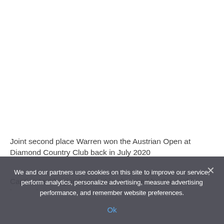Joint second place Warren won the Austrian Open at Diamond Country Club back in July 2020
Caption continues partially visible...
We and our partners use cookies on this site to improve our service, perform analytics, personalize advertising, measure advertising performance, and remember website preferences.
Ok